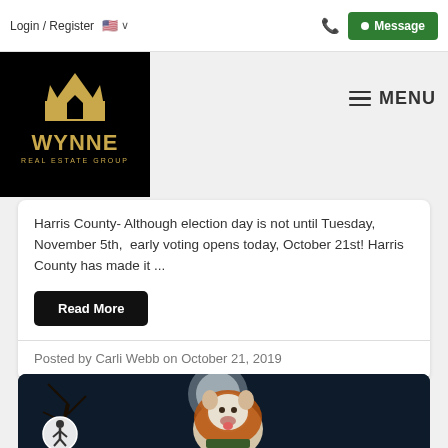Login / Register  🇺🇸 ∨   📞  Message
[Figure (logo): Wynne Real Estate Group logo — gold crown/house icon on black background with gold text WYNNE REAL ESTATE GROUP]
≡ MENU
Harris County- Although election day is not until Tuesday, November 5th,  early voting opens today, October 21st! Harris County has made it ...
Read More
Posted by Carli Webb on October 21, 2019
[Figure (photo): A dog wearing a lion mane costume against a dark Halloween-themed background with a full moon and bare trees]